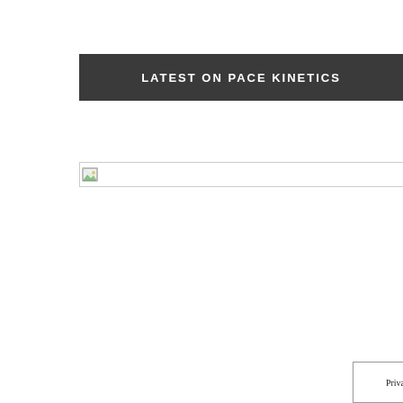LATEST ON PACE KINETICS
[Figure (other): Broken image placeholder - horizontal bar with broken image icon at left]
[Figure (other): Broken image placeholder - horizontal bar with broken image icon at left]
Privacy & Cookies Policy